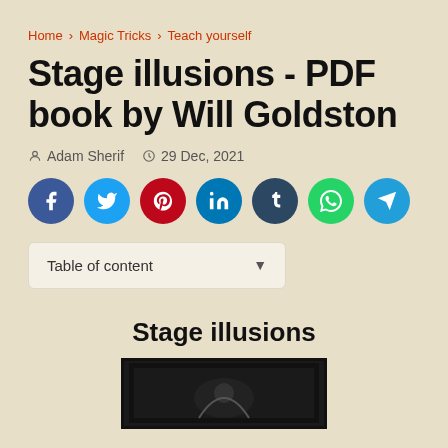Home > Magic Tricks > Teach yourself
Stage illusions - PDF book by Will Goldston
Adam Sherif   29 Dec, 2021
[Figure (infographic): Social share buttons: Facebook, Twitter, Pinterest, LinkedIn, Tumblr, WhatsApp, Telegram]
Table of content
Stage illusions
[Figure (photo): Partial view of a book cover image with black and white illustration at the bottom of the page]